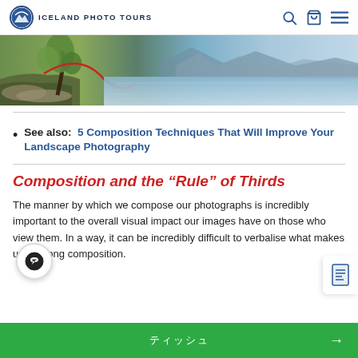ICELAND PHOTO TOURS
[Figure (photo): Landscape hero image showing a tree by a rocky shoreline on the left half and a calm blue lake with mountains in the background on the right half]
See also: 5 Composition Techniques That Will Improve Your Landscape Photography
Composition and the “Rule” of Thirds
The manner by which we compose our photographs is incredibly important to the overall visual impact our images have on those who view them. In a way, it can be incredibly difficult to verbalise what makes up a strong composition.